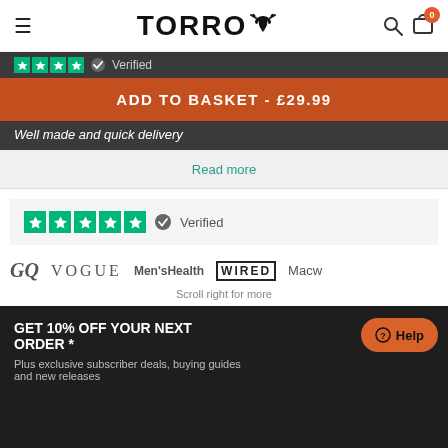TORRO
[Figure (screenshot): Trustpilot green star rating strip (partial, top of page) with Verified badge on dark background]
ADD TO BASKET - £29.99
Well made and quick delivery
Read more
[Figure (screenshot): Trustpilot 5-star green rating with Verified badge on light grey card]
[Figure (logo): Media logos: GQ, VOGUE, Men's Health, WIRED, Macw...]
Scroll right for more
GET 10% OFF YOUR NEXT ORDER *
Plus exclusive subscriber deals, buying guides and new releases